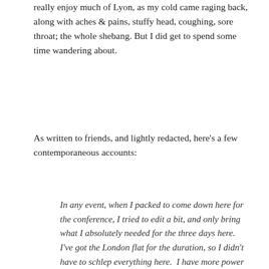really enjoy much of Lyon, as my cold came raging back, along with aches & pains, stuffy head, coughing, sore throat; the whole shebang. But I did get to spend some time wandering about.
As written to friends, and lightly redacted, here's a few contemporaneous accounts:
In any event, when I packed to come down here for the conference, I tried to edit a bit, and only bring what I absolutely needed for the three days here.  I've got the London flat for the duration, so I didn't have to schlep everything here.  I have more power adapters than I need, since I now have dedicated UK versions of power supplies for my phone & computer.  I typically only need maybe one other adapter, and, since I suffer from sleep apnea, I also carry a flexible-plug power cord for the APAP machine I use to sleep with.